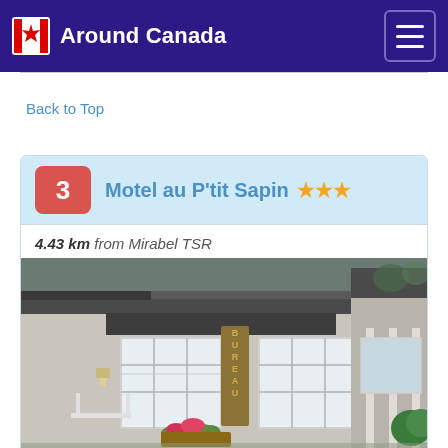Around Canada
Back to Top
3  Motel au P'tit Sapin ★★★
4.43 km from Mirabel TSR
[Figure (photo): Photo of Motel au P'tit Sapin exterior showing a brick building with large white-framed windows, a vertical 'BUREAU' sign, flower planters, and a covered porch area with columns]